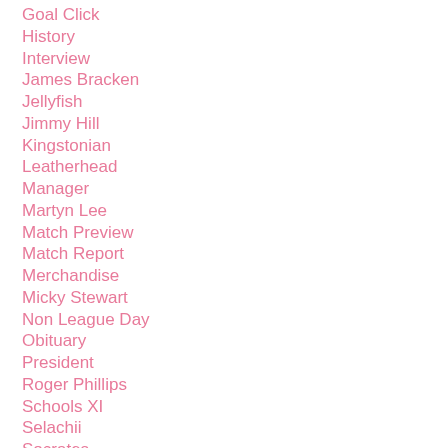Goal Click
History
Interview
James Bracken
Jellyfish
Jimmy Hill
Kingstonian
Leatherhead
Manager
Martyn Lee
Match Preview
Match Report
Merchandise
Micky Stewart
Non League Day
Obituary
President
Roger Phillips
Schools XI
Selachii
Socrates
Sponsors & Partners